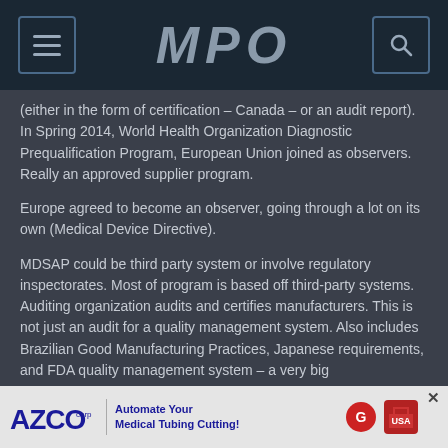MPO
(either in the form of certification – Canada – or an audit report). In Spring 2014, World Health Organization Diagnostic Prequalification Program, European Union joined as observers. Really an approved supplier program.
Europe agreed to become an observer, going through a lot on its own (Medical Device Directive).
MDSAP could be third party system or involve regulatory inspectorates. Most of program is based off third-party systems. Auditing organization audits and certifies manufacturers. This is not just an audit for a quality management system. Also includes Brazilian Good Manufacturing Practices, Japanese requirements, and FDA quality management system – a very big
[Figure (infographic): Advertisement bar: AZCO corp logo with text 'Automate Your Medical Tubing Cutting!' and associated icons]